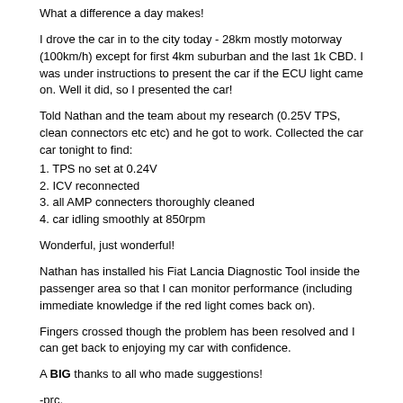What a difference a day makes!
I drove the car in to the city today - 28km mostly motorway (100km/h) except for first 4km suburban and the last 1k CBD. I was under instructions to present the car if the ECU light came on. Well it did, so I presented the car!
Told Nathan and the team about my research (0.25V TPS, clean connectors etc etc) and he got to work. Collected the car car tonight to find:
1. TPS no set at 0.24V
2. ICV reconnected
3. all AMP connecters thoroughly cleaned
4. car idling smoothly at 850rpm
Wonderful, just wonderful!
Nathan has installed his Fiat Lancia Diagnostic Tool inside the passenger area so that I can monitor performance (including immediate knowledge if the red light comes back on).
Fingers crossed though the problem has been resolved and I can get back to enjoying my car with confidence.
A BIG thanks to all who made suggestions!
-prc.